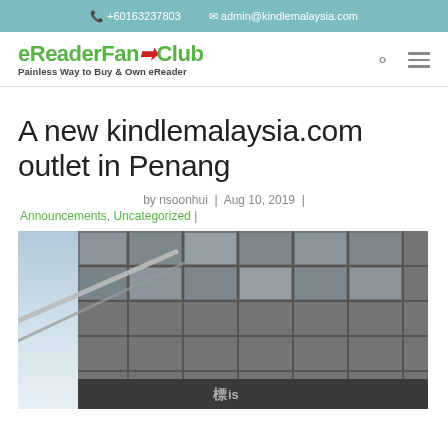+60163237803  admin@kindlemalaysia.com
[Figure (logo): eReaderFanClub logo with tagline 'Painless Way to Buy & Own eReader']
A new kindlemalaysia.com outlet in Penang
by nsoonhui | Aug 10, 2019 |
Announcements, Uncategorized |
[Figure (photo): Exterior photo of a modern building facade with glass panels and structural elements, partially showing a sign at the bottom.]